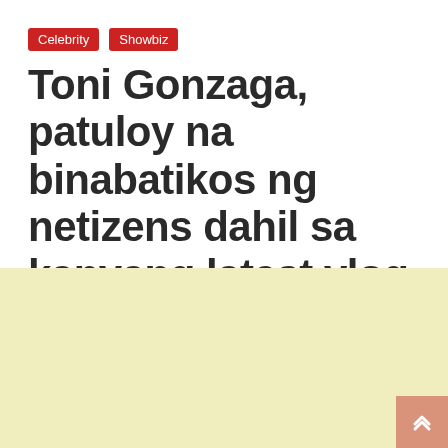Celebrity  Showbiz
Toni Gonzaga, patuloy na binabatikos ng netizens dahil sa kanyang latest vlog
September 15, 2021  5 min read  Admin
[Figure (other): Advertisement banner area with light yellow background]